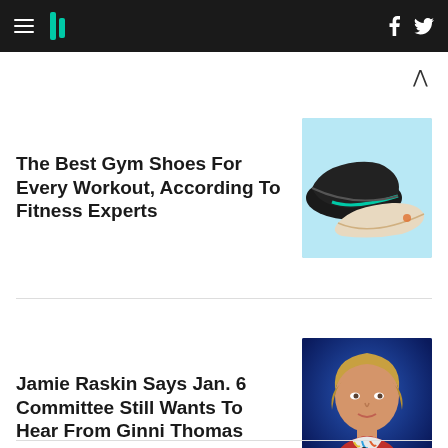HuffPost navigation bar with hamburger menu, logo, Facebook and Twitter icons
The Best Gym Shoes For Every Workout, According To Fitness Experts
[Figure (photo): Two gym/athletic shoes against a light blue background — one black with teal sole, one beige/white with orange accent]
Jamie Raskin Says Jan. 6 Committee Still Wants To Hear From Ginni Thomas
[Figure (photo): Headshot of a middle-aged blonde woman in a red jacket with colorful scarf against a blue background]